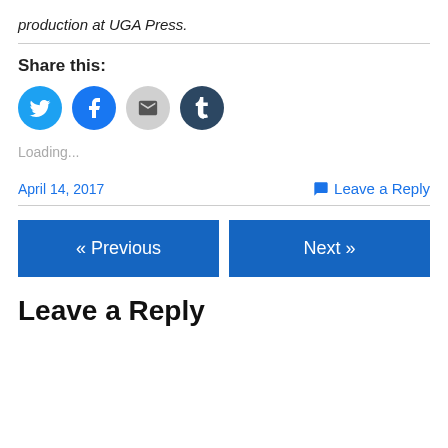production at UGA Press.
Share this:
[Figure (illustration): Four social sharing icon buttons: Twitter (blue bird icon), Facebook (blue f icon), Email (grey envelope icon), Tumblr (dark navy t icon)]
Loading...
April 14, 2017
Leave a Reply
« Previous
Next »
Leave a Reply